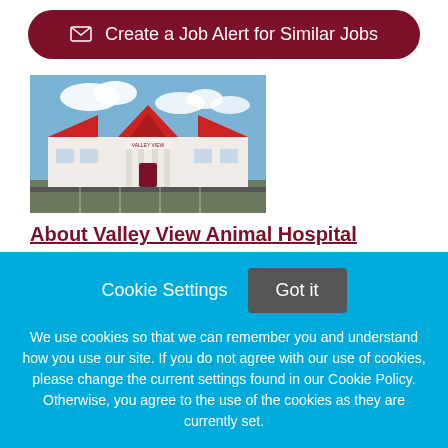Create a Job Alert for Similar Jobs
[Figure (photo): Exterior photo of Valley View Animal Hospital building — a white building with red roof, columns at entrance, parking lot in front, cloudy blue sky background.]
About Valley View Animal Hospital
We have a state of the art facility that is constantly growing in its client base and its resources. We pride
Cookie Settings  Got it
We use cookies so that we can remember you and understand how you use our site. If you do not agree with our use of cookies, please change the current settings found in our Cookie Policy. Otherwise, you agree to the use of the cookies as they are currently set.